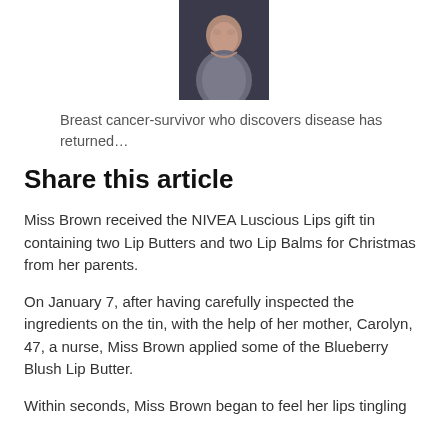[Figure (photo): Portrait photo of a woman smiling, dark background]
Breast cancer-survivor who discovers disease has returned…
Share this article
Miss Brown received the NIVEA Luscious Lips gift tin containing two Lip Butters and two Lip Balms for Christmas from her parents.
On January 7, after having carefully inspected the ingredients on the tin, with the help of her mother, Carolyn, 47, a nurse, Miss Brown applied some of the Blueberry Blush Lip Butter.
Within seconds, Miss Brown began to feel her lips tingling